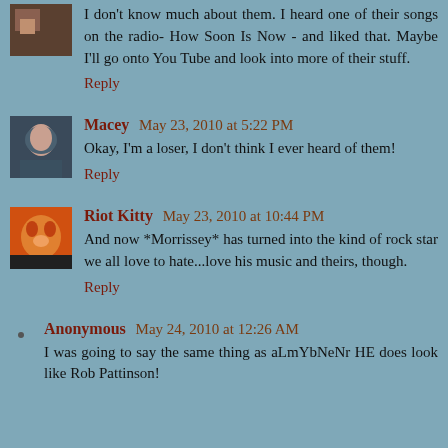I don't know much about them. I heard one of their songs on the radio- How Soon Is Now - and liked that. Maybe I'll go onto You Tube and look into more of their stuff.
Reply
Macey  May 23, 2010 at 5:22 PM
Okay, I'm a loser, I don't think I ever heard of them!
Reply
Riot Kitty  May 23, 2010 at 10:44 PM
And now *Morrissey* has turned into the kind of rock star we all love to hate...love his music and theirs, though.
Reply
Anonymous  May 24, 2010 at 12:26 AM
I was going to say the same thing as aLmYbNeNr HE does look like Rob Pattinson!